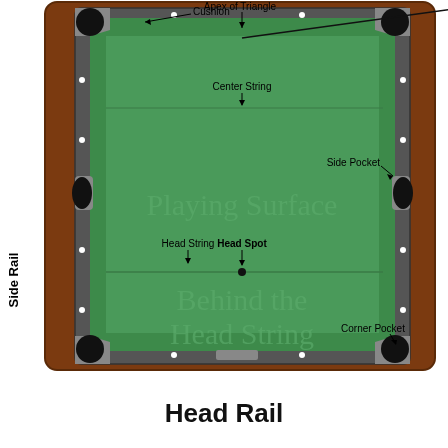[Figure (illustration): Top-down diagram of a pool/billiards table showing labeled parts: Cushion, Apex of Triangle, Center String, Side Pocket, Playing Surface, Head String, Head Spot, Behind the Head String, Corner Pocket, Side Rail]
Head Rail